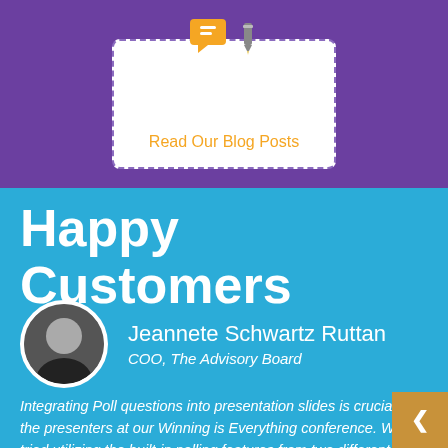[Figure (screenshot): Purple background section with a white card containing blog post icons (chat bubble and pencil) and an orange 'Read Our Blog Posts' link text, with a dashed border]
Read Our Blog Posts
Happy Customers
Jeannete Schwartz Ruttan
COO, The Advisory Board
Integrating Poll questions into presentation slides is crucial for the presenters at our Winning is Everything conference. We've tried utilizing the built-in polling features from two different mobile event apps and both ended up failing during our event